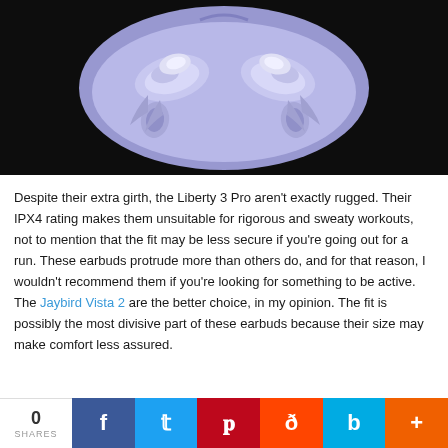[Figure (photo): Top-down view of Soundcore Liberty 3 Pro true wireless earbuds in an open purple/lavender charging case on a dark background]
Despite their extra girth, the Liberty 3 Pro aren't exactly rugged. Their IPX4 rating makes them unsuitable for rigorous and sweaty workouts, not to mention that the fit may be less secure if you're going out for a run. These earbuds protrude more than others do, and for that reason, I wouldn't recommend them if you're looking for something to be active. The Jaybird Vista 2 are the better choice, in my opinion. The fit is possibly the most divisive part of these earbuds because their size may make comfort less assured.